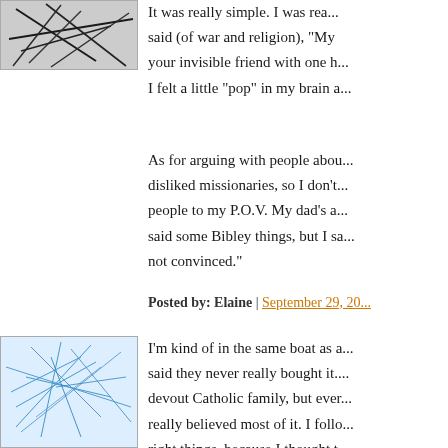[Figure (illustration): Abstract scribble avatar image - dark lines on white/grey background]
It was really simple. I was read... said (of war and religion), "My your invisible friend with one h... I felt a little "pop" in my brain a...
As for arguing with people abou... disliked missionaries, so I don't... people to my P.O.V. My dad's a... said some Bibley things, but I sa... not convinced."
Posted by: Elaine | September 29, 20...
[Figure (illustration): Abstract network/mesh avatar image - light blue lines on white background]
I'm kind of in the same boat as a... said they never really bought it.... devout Catholic family, but ever... really believed most of it. I follo... right things, because I thought t... supposed to do. A couple times...